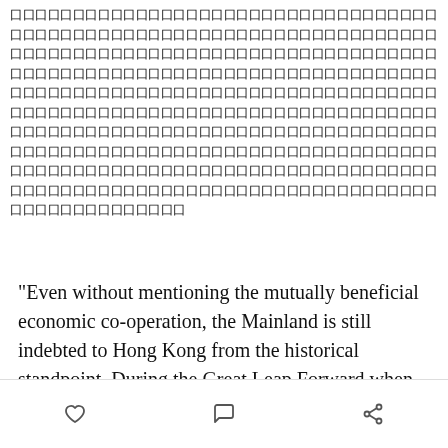[Chinese characters block — redacted for structured data]
“Even without mentioning the mutually beneficial economic co-operation, the Mainland is still indebted to Hong Kong from the historical standpoint. During the Great Leap Forward when 30 million Chinese were starving to death (I do not know whether Jia has read about this part of Chinese history?), Hong Kongers selflessly extended help to the Mainland. More recently,
[heart icon] [comment icon] [share icon]